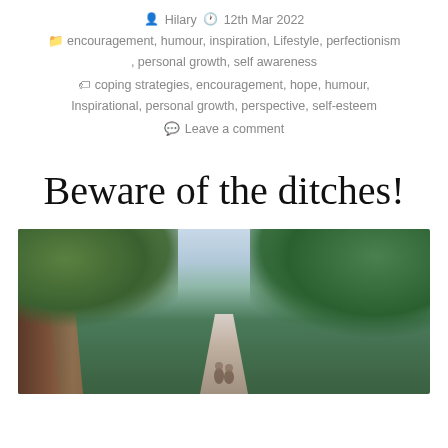Hilary  12th Mar 2022
encouragement, humour, inspiration, Lifestyle, perfectionism, personal growth, self awareness
coping strategies, encouragement, hope, humour, Inspirational, personal growth, perspective, self-esteem
Leave a comment
Beware of the ditches!
[Figure (photo): A forest path or road lined with tall trees on both sides, with green foliage overhead and a pale sky visible in the background. Small figures appear at the bottom center of the image.]